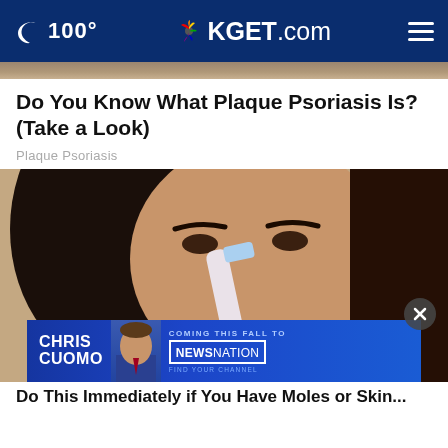100° KGET.com
[Figure (photo): Partial top strip of an outdoor/skin-related photo]
Do You Know What Plaque Psoriasis Is? (Take a Look)
Plaque Psoriasis
[Figure (photo): Close-up photo of a dark-haired woman holding a toothbrush near her nose, with an ad banner overlay reading CHRIS CUOMO COMING THIS FALL TO NEWSNATION]
Do This Immediately if You Have Moles or Skin...